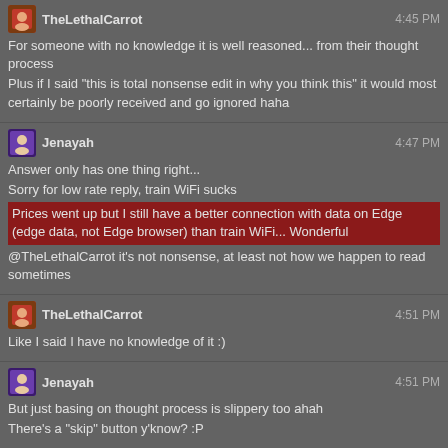TheLethalCarrot 4:45 PM
For someone with no knowledge it is well reasoned... from their thought process
Plus if I said "this is total nonsense edit in why you think this" it would most certainly be poorly received and go ignored haha
Jenayah 4:47 PM
Answer only has one thing right...
Sorry for low rate reply, train WiFi sucks
Prices went up but I still have a better connection with data on Edge (edge data, not Edge browser) than train WiFi... Wonderful
@TheLethalCarrot it's not nonsense, at least not how we happen to read sometimes
TheLethalCarrot 4:51 PM
Like I said I have no knowledge of it :)
Jenayah 4:51 PM
But just basing on thought process is slippery too ahah
There's a "skip" button y'know? :P
TheLethalCarrot 4:53 PM
Well FPs/LAs aren't really there to judge correctness just give some general advice to the user, edit into shape etc. etc.
Jenayah 4:55 PM
Hm... I feel like we had this discussion with Rand already
Lemme think if I can find the transcript
Lemme see if I can find the transcript